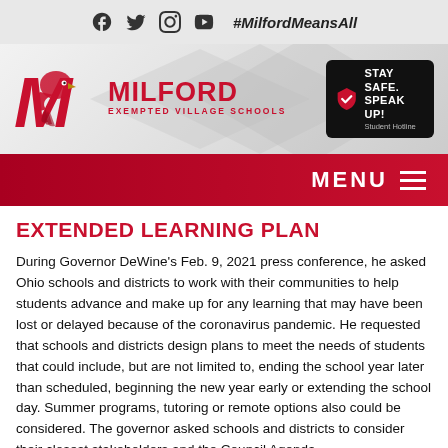#MilfordMeansAll
[Figure (logo): Milford Exempted Village Schools logo with eagle mascot and red M]
[Figure (logo): Stay Safe Speak Up Student Hotline button]
MENU
EXTENDED LEARNING PLAN
During Governor DeWine's Feb. 9, 2021 press conference, he asked Ohio schools and districts to work with their communities to help students advance and make up for any learning that may have been lost or delayed because of the coronavirus pandemic. He requested that schools and districts design plans to meet the needs of students that could include, but are not limited to, ending the school year later than scheduled, beginning the new year early or extending the school day. Summer programs, tutoring or remote options also could be considered. The governor asked schools and districts to consider their closest stakeholders and the Council Agenda...